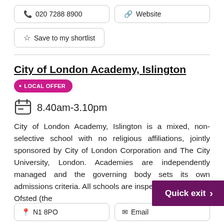📞 020 7288 8900
🔗 Website
☆ Save to my shortlist
City of London Academy, Islington
• LOCAL OFFER
8.40am-3.10pm
City of London Academy, Islington is a mixed, non-selective school with no religious affiliations, jointly sponsored by City of London Corporation and The City University, London. Academies are independently managed and the governing body sets its own admissions criteria. All schools are inspected regularly by Ofsted (the
N1 8PO
Email